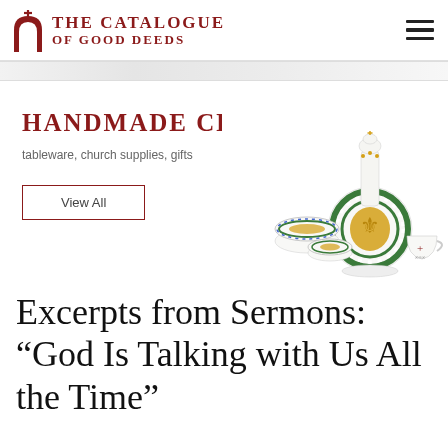THE CATALOGUE OF GOOD DEEDS
[Figure (illustration): Handmade ceramic tableware including a tall decorated bottle/decanter with green and gold Orthodox motifs, two round lidded boxes, and a small cup, all white with colorful religious decorations]
HANDMADE CERAMICS
tableware, church supplies, gifts
View All
Excerpts from Sermons: “God Is Talking with Us All the Time”